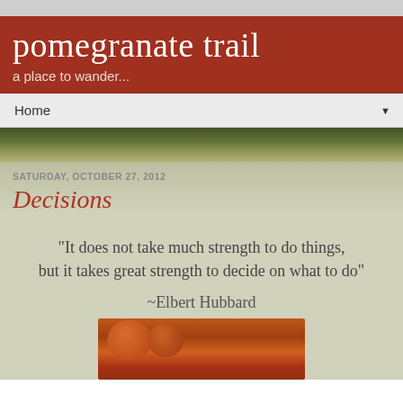pomegranate trail
a place to wander...
Home
SATURDAY, OCTOBER 27, 2012
Decisions
"It does not take much strength to do things, but it takes great strength to decide on what to do"
~Elbert Hubbard
[Figure (photo): Pumpkins photograph at the bottom of the post]